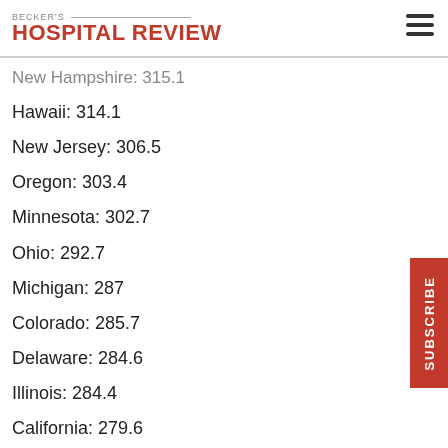BECKER'S HOSPITAL REVIEW
New Hampshire: 315.1
Hawaii: 314.1
New Jersey: 306.5
Oregon: 303.4
Minnesota: 302.7
Ohio: 292.7
Michigan: 287
Colorado: 285.7
Delaware: 284.6
Illinois: 284.4
California: 279.6
Washington: 278.8